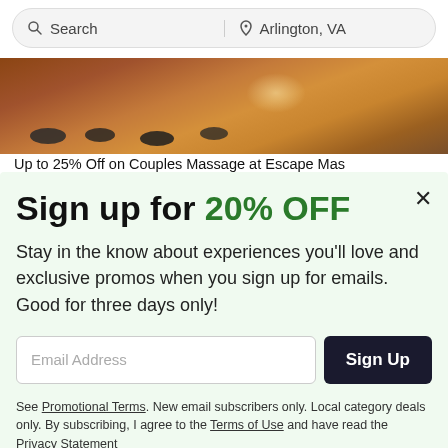Search | Arlington, VA
[Figure (photo): Close-up photo of hot massage stones on a warm brown/amber background, with dark oval stones arranged in a line and a soft light glow in the upper background.]
Up to 25% Off on Couples Massage at Escape Mas
Sign up for 20% OFF
Stay in the know about experiences you'll love and exclusive promos when you sign up for emails. Good for three days only!
Email Address  [Sign Up button]
See Promotional Terms. New email subscribers only. Local category deals only. By subscribing, I agree to the Terms of Use and have read the Privacy Statement